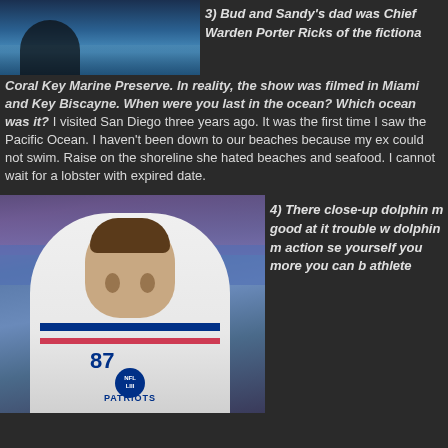[Figure (photo): Partial photo of a person near water/ocean, top-left corner]
3) Bud and Sandy's dad was Chief Warden Porter Ricks of the fictional Coral Key Marine Preserve. In reality, the show was filmed in Miami and Key Biscayne. When were you last in the ocean? Which ocean was it? I visited San Diego three years ago. It was the first time I saw the Pacific Ocean. I haven't been down to our beaches because my ex could not swim. Raise on the shoreline she hated beaches and seafood. I cannot wait for a lobster with expired date.
[Figure (photo): Photo of a football player in New England Patriots uniform number 87, at Super Bowl LIII]
4) There close-up dolphin m good at it trouble w dolphin m action se yourself you more you can b athlete